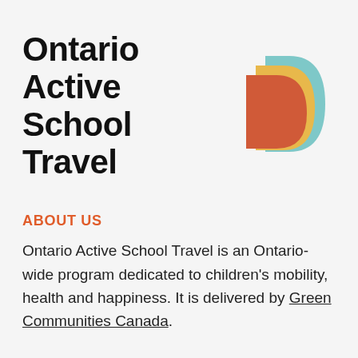[Figure (logo): Ontario Active School Travel logo with bold black text and three overlapping D-shaped arcs in terracotta/orange, yellow/gold, and light blue]
ABOUT US
Ontario Active School Travel is an Ontario-wide program dedicated to children's mobility, health and happiness. It is delivered by Green Communities Canada.